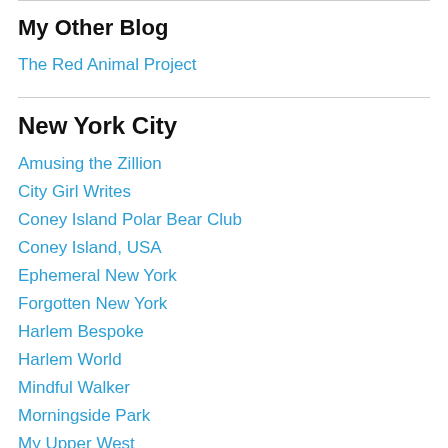My Other Blog
The Red Animal Project
New York City
Amusing the Zillion
City Girl Writes
Coney Island Polar Bear Club
Coney Island, USA
Ephemeral New York
Forgotten New York
Harlem Bespoke
Harlem World
Mindful Walker
Morningside Park
My Upper West
NYC Parks Department: Riverside Park